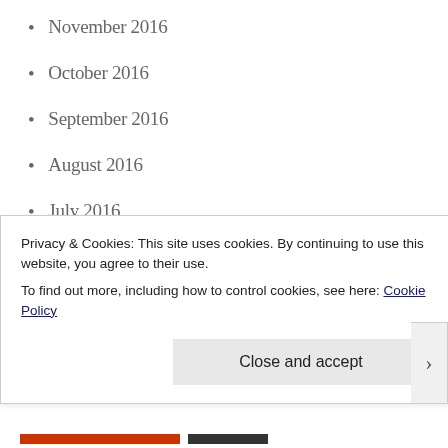November 2016
October 2016
September 2016
August 2016
July 2016
June 2016
May 2016
April 2016
March 2016
February 2016
January 2016
Privacy & Cookies: This site uses cookies. By continuing to use this website, you agree to their use. To find out more, including how to control cookies, see here: Cookie Policy
Close and accept